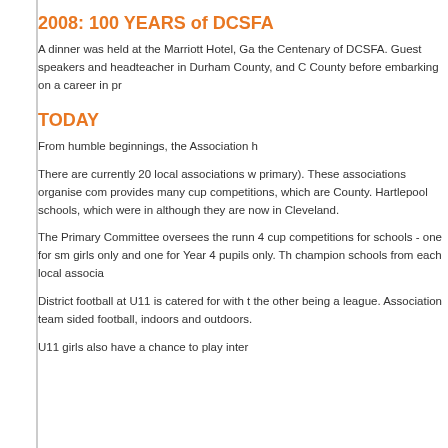2008: 100 YEARS of DCSFA
A dinner was held at the Marriott Hotel, Ga the Centenary of DCSFA. Guest speakers and headteacher in Durham County, and C County before embarking on a career in pr
TODAY
From humble beginnings, the Association h
There are currently 20 local associations w primary). These associations organise com provides many cup competitions, which are County. Hartlepool schools, which were in although they are now in Cleveland.
The Primary Committee oversees the runn 4 cup competitions for schools - one for sm girls only and one for Year 4 pupils only. Th champion schools from each local associa
District football at U11 is catered for with t the other being a league. Association team sided football, indoors and outdoors.
U11 girls also have a chance to play inter